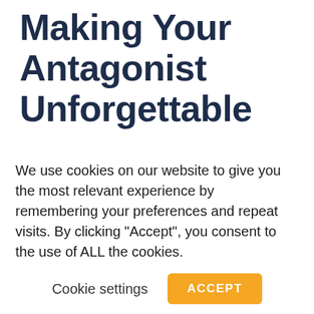Making Your Antagonist Unforgettable
Being creative with your antagonist can be a lot of fun and ensures they won't be forgotten in a hurry. Let's face it, everyone loves a baddie! They don't have to be 'ugly' or scary or always in hiding, often the most dangerous can be loved by many. Look at giving them redeeming features to make them even more unsettling and unpredictable. Bond villain
We use cookies on our website to give you the most relevant experience by remembering your preferences and repeat visits. By clicking "Accept", you consent to the use of ALL the cookies.
Cookie settings  ACCEPT